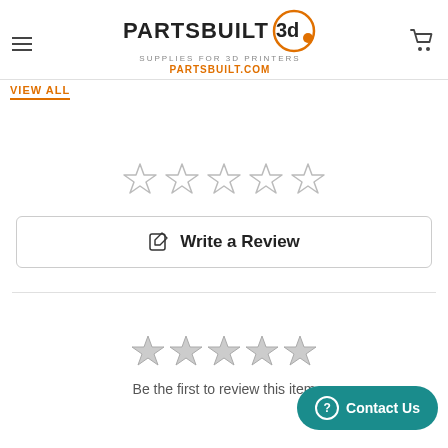[Figure (logo): Partsbuilt 3D logo with orange circle, tagline 'Supplies for 3D Printers', URL 'PARTSBUILT.COM', hamburger menu icon, and shopping cart icon]
VIEW ALL
[Figure (other): Five empty star rating icons in a row (outline only, gray)]
Write a Review
[Figure (other): Five filled gray star rating icons in a row]
Be the first to review this item
Contact Us